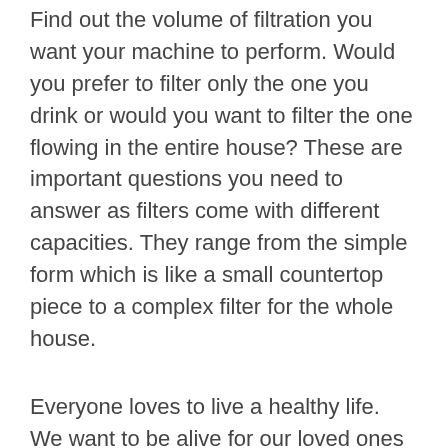Find out the volume of filtration you want your machine to perform. Would you prefer to filter only the one you drink or would you want to filter the one flowing in the entire house? These are important questions you need to answer as filters come with different capacities. They range from the simple form which is like a small countertop piece to a complex filter for the whole house.
Everyone loves to live a healthy life. We want to be alive for our loved ones and to enjoy the free gift of life. Well, using Aquasana offers a high chance of having healthy water that the benefits cannot be overemphasized. It is not just drinking a lot of water that keeps one healthy but making